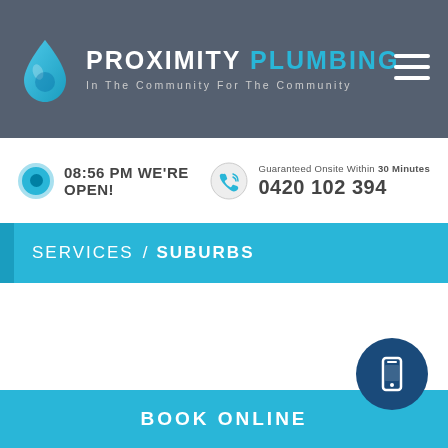PROXIMITY PLUMBING — In The Community For The Community
08:56 PM WE'RE OPEN!
Guaranteed Onsite Within 30 Minutes
0420 102 394
SERVICES / SUBURBS
BOOK ONLINE